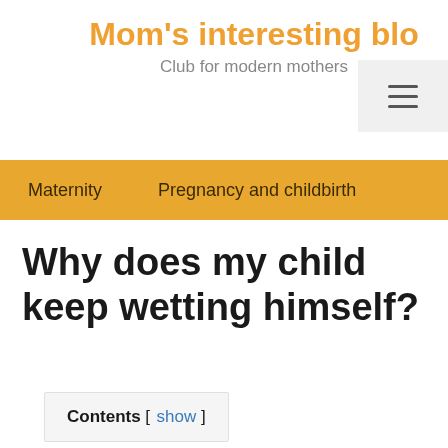Mom's interesting blo
Club for modern mothers
Maternity   Pregnancy and childbirth
Why does my child keep wetting himself?
Contents [ show ]